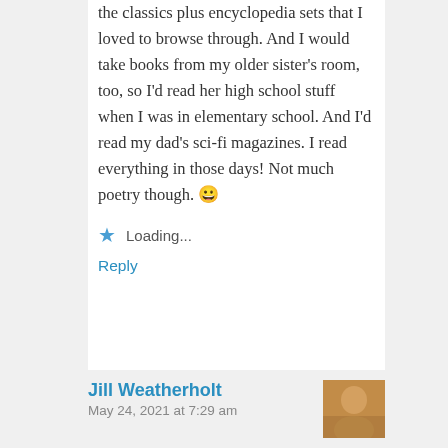the classics plus encyclopedia sets that I loved to browse through. And I would take books from my older sister's room, too, so I'd read her high school stuff when I was in elementary school. And I'd read my dad's sci-fi magazines. I read everything in those days! Not much poetry though. 😀
Loading...
Reply
Jill Weatherholt
May 24, 2021 at 7:29 am